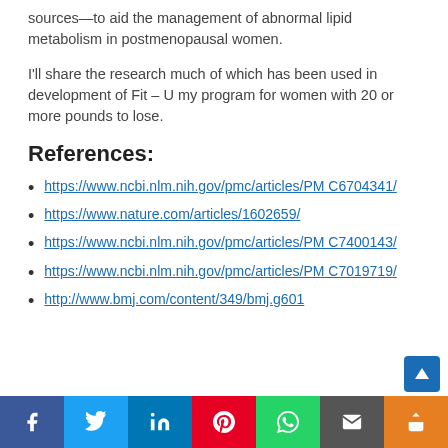sources—to aid the management of abnormal lipid metabolism in postmenopausal women.
I'll share the research much of which has been used in development of Fit – U my program for women with 20 or more pounds to lose.
References:
https://www.ncbi.nlm.nih.gov/pmc/articles/PMC6704341/
https://www.nature.com/articles/1602659/
https://www.ncbi.nlm.nih.gov/pmc/articles/PMC7400143/
https://www.ncbi.nlm.nih.gov/pmc/articles/PMC7019719/
http://www.bmj.com/content/349/bmj.g601